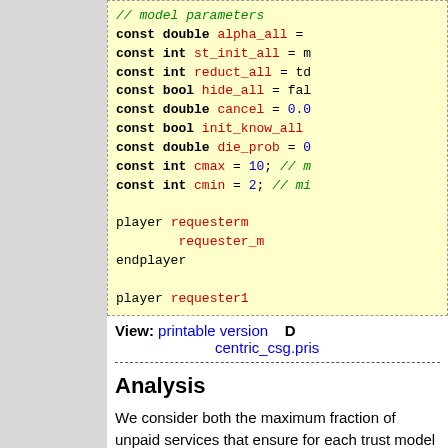[Figure (screenshot): Code block with yellow background showing PRISM model parameters and player declarations in a formal modelling language]
View: printable version   D... centric_csg.pris...
Analysis
We consider both the maximum fraction of unpaid services that ensure for each trust model for... Since the players for the mode...